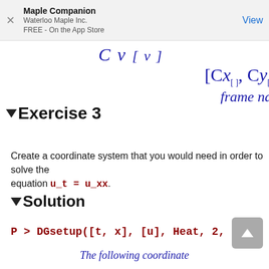Maple Companion
Waterloo Maple Inc.
FREE - On the App Store
▼Exercise 3
Create a coordinate system that you would need in order to solve the equation u_t = u_xx.
▼Solution
The following coordinate